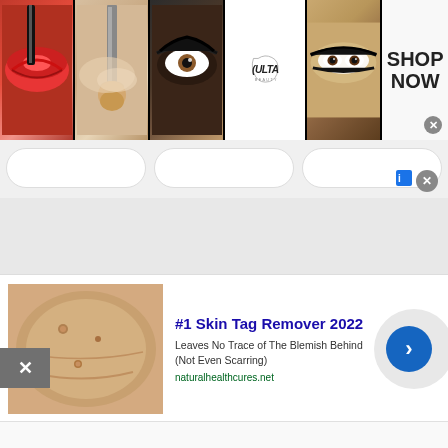[Figure (screenshot): Ulta Beauty advertisement banner showing makeup images (lips, brush, eye with dramatic makeup, Ulta logo, smokey eyes) with SHOP NOW text and X close button]
[Figure (screenshot): Three rounded pill-shaped input/button boxes in a row on light gray background]
[Figure (screenshot): Large gray content area placeholder with X close button on left edge]
[Figure (screenshot): Advertisement for '#1 Skin Tag Remover 2022' showing skin image, headline, description text 'Leaves No Trace of The Blemish Behind (Not Even Scarring)', URL naturalhealthcures.net, blue arrow button, with X close button and ad badge]